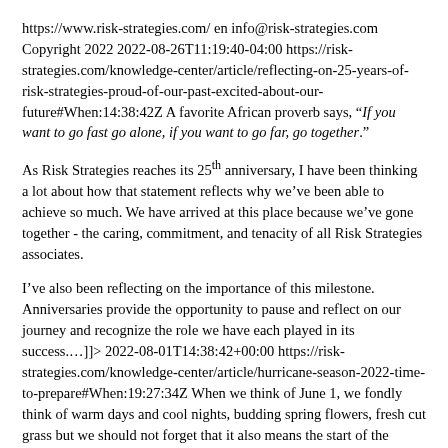https://www.risk-strategies.com/ en info@risk-strategies.com Copyright 2022 2022-08-26T11:19:40-04:00 https://risk-strategies.com/knowledge-center/article/reflecting-on-25-years-of-risk-strategies-proud-of-our-past-excited-about-our-future#When:14:38:42Z A favorite African proverb says, “If you want to go fast go alone, if you want to go far, go together.”
As Risk Strategies reaches its 25th anniversary, I have been thinking a lot about how that statement reflects why we’ve been able to achieve so much. We have arrived at this place because we’ve gone together - the caring, commitment, and tenacity of all Risk Strategies associates.
I’ve also been reflecting on the importance of this milestone. Anniversaries provide the opportunity to pause and reflect on our journey and recognize the role we have each played in its success.…]]> 2022-08-01T14:38:42+00:00 https://risk-strategies.com/knowledge-center/article/hurricane-season-2022-time-to-prepare#When:19:27:34Z When we think of June 1, we fondly think of warm days and cool nights, budding spring flowers, fresh cut grass but we should not forget that it also means the start of the Atlantic Hurricane season.
According to the National Hurricane Center, the 2021 Atlantic Hurricane Season was ranked as the third busiest with 21 named